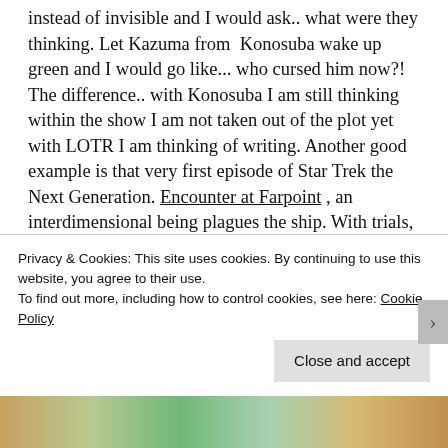instead of invisible and I would ask.. what were they thinking. Let Kazuma from Konosuba wake up green and I would go like... who cursed him now?! The difference.. with Konosuba I am still thinking within the show I am not taken out of the plot yet with LOTR I am thinking of writing. Another good example is that very first episode of Star Trek the Next Generation. Encounter at Farpoint , an interdimensional being plagues the ship. With trials, time travel shenanigans and weird space jellyfish. I felt very conflicted about this setting.. how do they balance this out? Yet would it have been an anime i would have consumed it without a single question.
Privacy & Cookies: This site uses cookies. By continuing to use this website, you agree to their use.
To find out more, including how to control cookies, see here: Cookie Policy